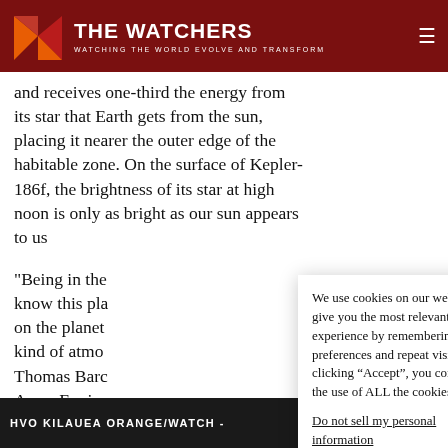THE WATCHERS — WATCHING THE WORLD EVOLVE AND TRANSFORM
and receives one-third the energy from its star that Earth gets from the sun, placing it nearer the outer edge of the habitable zone. On the surface of Kepler-186f, the brightness of its star at high noon is only as bright as our sun appears to us
"Being in the know this pla on the planet kind of atmo Thomas Barc Ames Enviro
We use cookies on our website to give you the most relevant experience by remembering your preferences and repeat visits. By clicking “Accept”, you consent to the use of ALL the cookies.
Do not not sell my personal information.
Cookie settings | Accept
HVO KILAUEA ORANGE/WATCH -